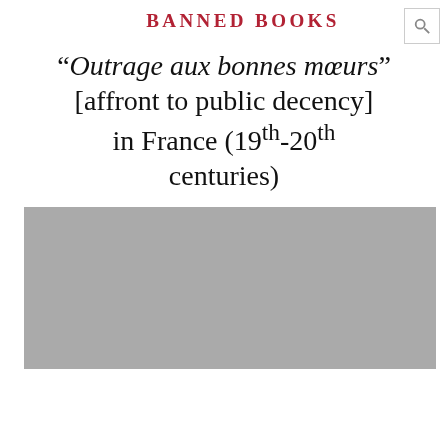BANNED BOOKS
“Outrage aux bonnes mœurs” [affront to public decency] in France (19th-20th centuries)
[Figure (photo): Grey placeholder image of a photograph related to banned books in France]